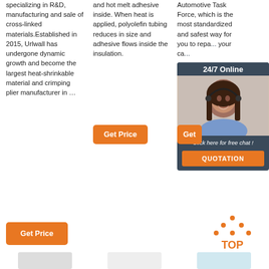specializing in R&D, manufacturing and sale of cross-linked materials.Established in 2015, Urlwall has undergone dynamic growth and become the largest heat-shrinkable material and crimping plier manufacturer in …
and hot melt adhesive inside. When heat is applied, polyolefin tubing reduces in size and adhesive flows inside the insulation.
Automotive Task Force, which is the most standardized and safest way for you to repa... your ca...
[Figure (screenshot): 24/7 Online chat widget with woman wearing headset, 'Click here for free chat!' text, and orange QUOTATION button]
[Figure (other): Orange Get Price button in column 2]
[Figure (other): Orange Get Price button (partially visible) in column 3]
[Figure (other): Orange Get Price button at bottom left]
[Figure (logo): TOP icon with orange dots forming triangle and orange TOP text]
[Figure (photo): Partial product thumbnail images at bottom of page]